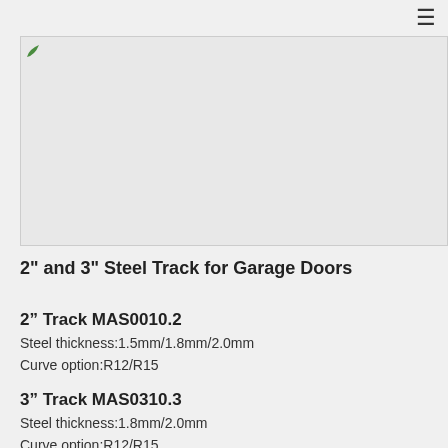≡
[Figure (photo): Product photo of steel track for garage doors, large rectangular image placeholder with light gray background]
2" and 3" Steel Track for Garage Doors
2" Track MAS0010.2
Steel thickness:1.5mm/1.8mm/2.0mm
Curve option:R12/R15
3" Track MAS0310.3
Steel thickness:1.8mm/2.0mm
Curve option:R12/R15